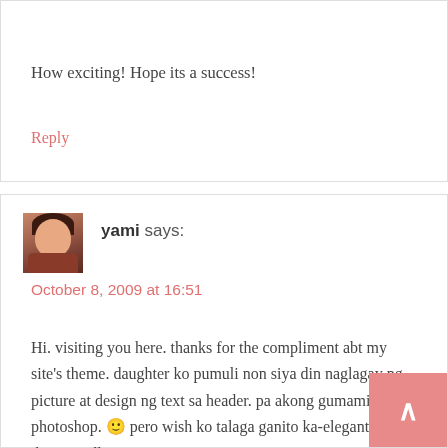How exciting! Hope its a success!
Reply
yami says:
October 8, 2009 at 16:51
Hi. visiting you here. thanks for the compliment abt my site’s theme. daughter ko pumuli non siya din naglagay ng picture at design ng text sa header. pa akong gumamit ng photoshop. 😀 pero wish ko talaga ganito ka-elegant na theme andlayout gaya